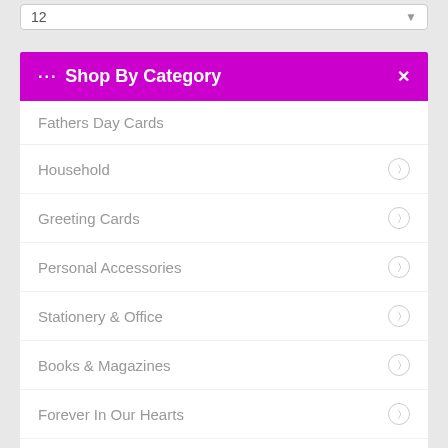12
··· Shop By Category ×
Fathers Day Cards
Household
Greeting Cards
Personal Accessories
Stationery & Office
Books & Magazines
Forever In Our Hearts
Art